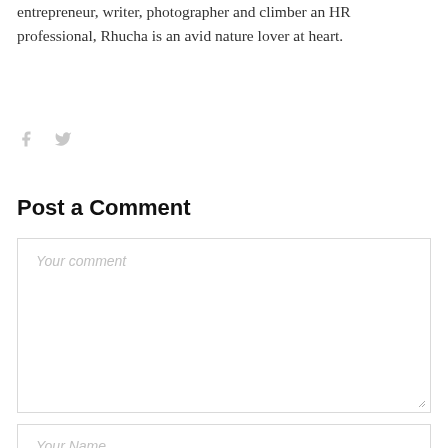entrepreneur, writer, photographer and climber an HR professional, Rhucha is an avid nature lover at heart.
[Figure (illustration): Social media icons: Facebook (f) and Twitter (bird) in light gray]
Post a Comment
[Figure (screenshot): Text area input field with placeholder text 'Your comment']
[Figure (screenshot): Text input field with placeholder text 'Your Name']